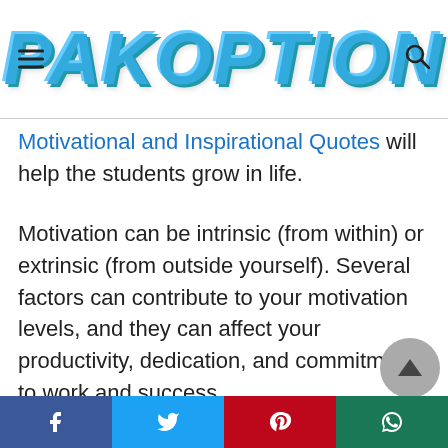PAKOPTION
Motivational and Inspirational Quotes will help the students grow in life.
Motivation can be intrinsic (from within) or extrinsic (from outside yourself). Several factors can contribute to your motivation levels, and they can affect your productivity, dedication, and commitment to work and success.
Understanding the different motivations can help you apply valuable lessons to your personal and